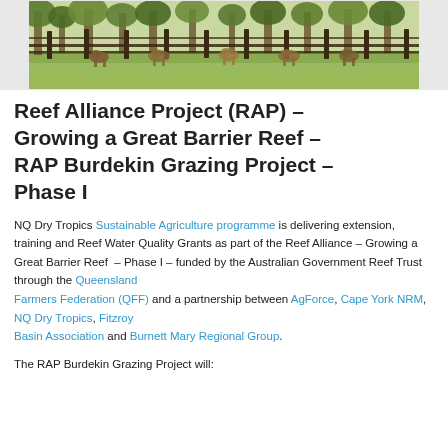[Figure (photo): Cattle in a grazing paddock with fencing and green pasture, trees in background]
Reef Alliance Project (RAP) – Growing a Great Barrier Reef – RAP Burdekin Grazing Project – Phase I
NQ Dry Tropics Sustainable Agriculture programme is delivering extension, training and Reef Water Quality Grants as part of the Reef Alliance – Growing a Great Barrier Reef  – Phase I – funded by the Australian Government Reef Trust through the Queensland Farmers Federation (QFF) and a partnership between AgForce, Cape York NRM, NQ Dry Tropics, Fitzroy Basin Association and Burnett Mary Regional Group.
The RAP Burdekin Grazing Project will: